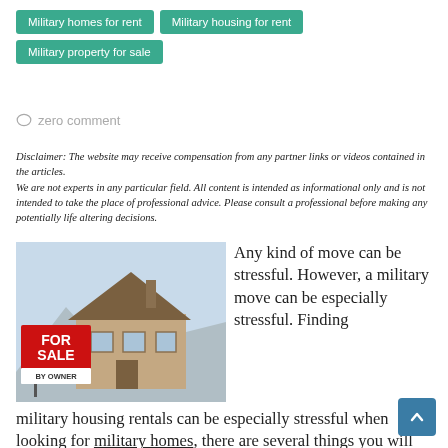Military homes for rent
Military housing for rent
Military property for sale
zero comment
Disclaimer: The website may receive compensation from any partner links or videos contained in the articles.
We are not experts in any particular field. All content is intended as informational only and is not intended to take the place of professional advice. Please consult a professional before making any potentially life altering decisions.
[Figure (photo): A red 'FOR SALE BY OWNER' sign in front of a large stone house with mountains in the background and blue sky.]
Any kind of move can be stressful. However, a military move can be especially stressful. Finding military housing rentals can be especially stressful when looking for military homes, there are several things you will want to take into consideration. First of all, you will